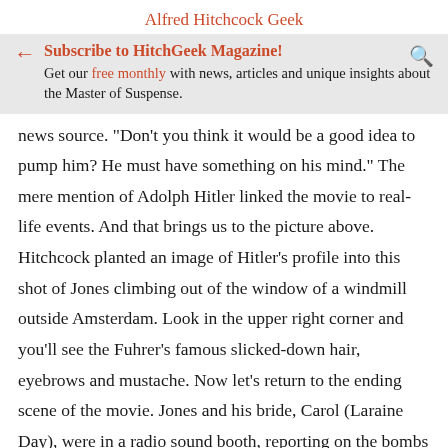Alfred Hitchcock Geek
Subscribe to HitchGeek Magazine! Get our free monthly with news, articles and unique insights about the Master of Suspense.
news source. "Don't you think it would be a good idea to pump him? He must have something on his mind." The mere mention of Adolph Hitler linked the movie to real-life events. And that brings us to the picture above. Hitchcock planted an image of Hitler's profile into this shot of Jones climbing out of the window of a windmill outside Amsterdam. Look in the upper right corner and you'll see the Fuhrer's famous slicked-down hair, eyebrows and mustache. Now let's return to the ending scene of the movie. Jones and his bride, Carol (Laraine Day), were in a radio sound booth, reporting on the bombs falling on London. Though the lights suddenly went out,